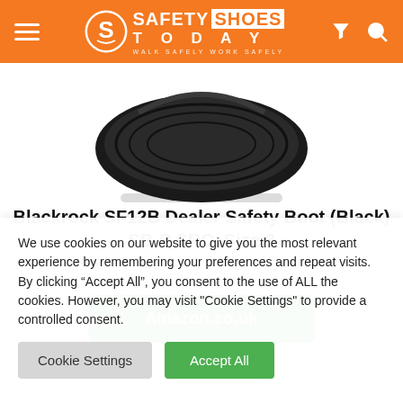Safety Shoes Today — WALK SAFELY WORK SAFELY
[Figure (photo): Bottom sole/tread of a black safety boot, viewed from below, on a white background.]
Blackrock SF12B Dealer Safety Boot (Black) SB-P SRC, Size 3
Amazon.co.uk
We use cookies on our website to give you the most relevant experience by remembering your preferences and repeat visits. By clicking “Accept All”, you consent to the use of ALL the cookies. However, you may visit "Cookie Settings" to provide a controlled consent.
Cookie Settings | Accept All